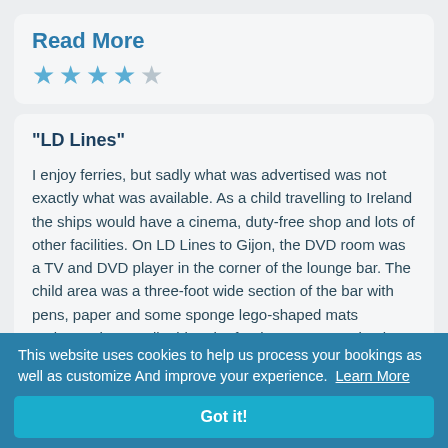Read More
[Figure (other): Star rating: 4 out of 5 stars (4 filled, 1 empty)]
"LD Lines"
I enjoy ferries, but sadly what was advertised was not exactly what was available. As a child travelling to Ireland the ships would have a cinema, duty-free shop and lots of other facilities. On LD Lines to Gijon, the DVD room was a TV and DVD player in the corner of the lounge bar. The child area was a three-foot wide section of the bar with pens, paper and some sponge lego-shaped mats underneath a small table. The food was OVER priced - bring your own. Bar staff were often worked 24 hours whilst
This website uses cookies to help us process your bookings as well as customize And improve your experience.  Learn More
Got it!